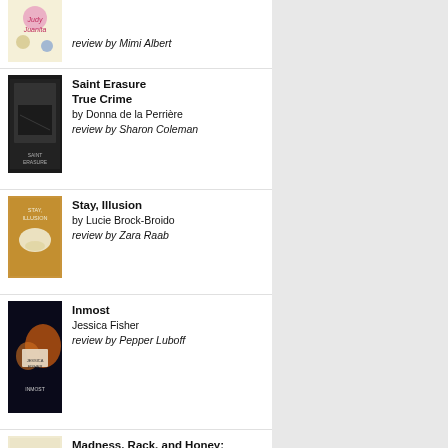review by Mimi Albert
Saint Erasure True Crime by Donna de la Perrière review by Sharon Coleman
Stay, Illusion by Lucie Brock-Broido review by Zara Raab
Inmost Jessica Fisher review by Pepper Luboff
Madness, Rack, and Honey: Collected Lectures by Mary Ruefle review by Zack Rogow
The Forgotten Waltz by Anne Enright review by Richard Silberg